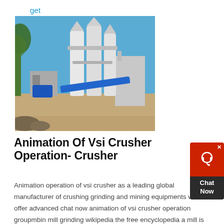get price
[Figure (photo): Outdoor industrial crushing/grinding plant with large white silos, pipes, and a blue conveyor belt on a sunny day. Palm tree visible on the left, industrial building in the background.]
Animation Of Vsi Crusher Operation- Crusher
Animation operation of vsi crusher as a leading global manufacturer of crushing grinding and mining equipments we offer advanced chat now animation of vsi crusher operation groupmbin mill grinding wikipedia the free encyclopedia a mill is a device that breaks solid materials into smaller pieces by grinding crushing or cutting . Crusher Jaws Vsi Crusher Animation...